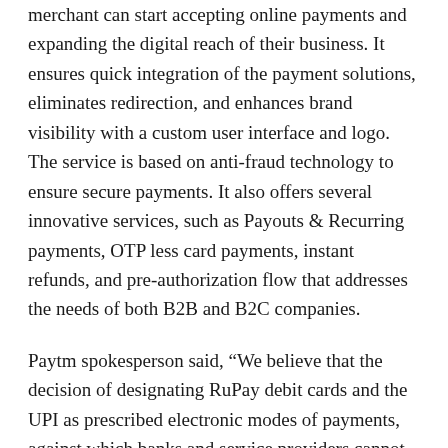merchant can start accepting online payments and expanding the digital reach of their business. It ensures quick integration of the payment solutions, eliminates redirection, and enhances brand visibility with a custom user interface and logo. The service is based on anti-fraud technology to ensure secure payments. It also offers several innovative services, such as Payouts & Recurring payments, OTP less card payments, instant refunds, and pre-authorization flow that addresses the needs of both B2B and B2C companies.
Paytm spokesperson said, “We believe that the decision of designating RuPay debit cards and the UPI as prescribed electronic modes of payments, against which banks and service providers cannot impose any charges will help in more adoption of